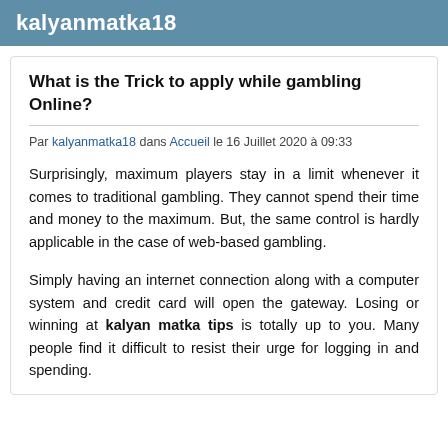kalyanmatka18
What is the Trick to apply while gambling Online?
Par kalyanmatka18 dans Accueil le 16 Juillet 2020 à 09:33
Surprisingly, maximum players stay in a limit whenever it comes to traditional gambling. They cannot spend their time and money to the maximum. But, the same control is hardly applicable in the case of web-based gambling.
Simply having an internet connection along with a computer system and credit card will open the gateway. Losing or winning at kalyan matka tips is totally up to you. Many people find it difficult to resist their urge for logging in and spending.